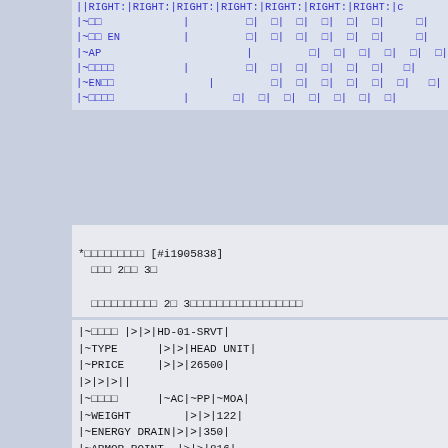| RIGHT: | RIGHT: | RIGHT: | RIGHT: | RIGHT: | RIGHT: | RIGHT: | c |
| --- | --- | --- | --- | --- | --- | --- | --- |
| ~□□ |  | □| | □| | □| | □| | □| | □| |
| ~□□ EN |  | □| | □| | □| | □| | □| | □| |
| ~AP |  | □| | □| | □| | □| | □| | □ |
| ~□□□□ |  | □| | □| | □| | □| | □| | □| |
| ~EN□□ |  | □| | □| | □| | □| | □| | □| |
| ~□□□□ |  | □| | □| | □| | □| | □| | □| |
*□□□□□□□□□ [#i1905838]
 □□□ 2□□ 3□
 □□□□□□□□□□ 2□ 3□□□□□□□□□□□□□□□□□
|~□□□□ |>|>|HD-01-SRVT|
|~TYPE     |>|>|HEAD UNIT|
|~PRICE    |>|>|26500|
|>|>|>||
|~□□□□     |~AC|~PP|~MOA|
|~WEIGHT        |>|>|122|
|~ENERGY DRAIN|>|>|350|
|~ARMOR POINT  |>|>|816|
|~DEF_SHELL    |>|>|154|
|~DEF_ENERGY   |>|>|149|